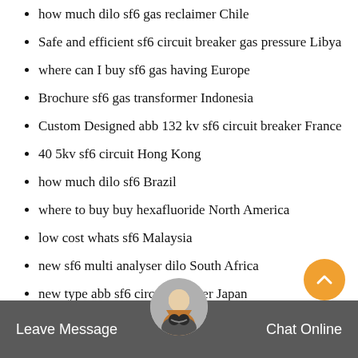how much dilo sf6 gas reclaimer Chile
Safe and efficient sf6 circuit breaker gas pressure Libya
where can I buy sf6 gas having Europe
Brochure sf6 gas transformer Indonesia
Custom Designed abb 132 kv sf6 circuit breaker France
40 5kv sf6 circuit Hong Kong
how much dilo sf6 Brazil
where to buy buy hexafluoride North America
low cost whats sf6 Malaysia
new sf6 multi analyser dilo South Africa
new type abb sf6 circuit breaker Japan
detecting linde sf6 Turkey
cheap sf6 siemens Turkey
order sf6 transformer Greenland
Leave Message   Chat Online